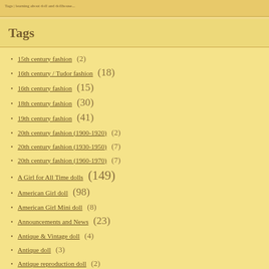Tags
Tags
15th century fashion (2)
16th century / Tudor fashion (18)
16th century fashion (15)
18th century fashion (30)
19th century fashion (41)
20th century fashion (1900-1920) (2)
20th century fashion (1930-1950) (7)
20th century fashion (1960-1970) (7)
A Girl for All Time dolls (149)
American Girl doll (98)
American Girl Mini doll (8)
Announcements and News (23)
Antique & Vintage doll (4)
Antique doll (3)
Antique reproduction doll (2)